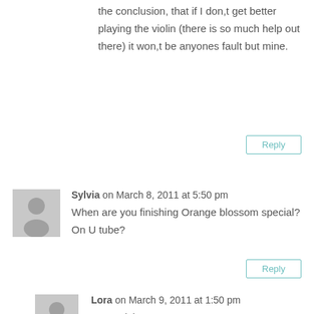the conclusion, that if I don,t get better playing the violin (there is so much help out there) it won,t be anyones fault but mine.
Reply
Sylvia on March 8, 2011 at 5:50 pm
When are you finishing Orange blossom special? On U tube?
Reply
Lora on March 9, 2011 at 1:50 pm
Hey Sylvia! Ok. I'm going to publicly say that I will do the next installment of the